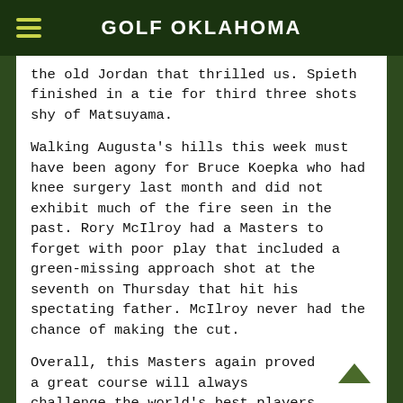GOLF OKLAHOMA
the old Jordan that thrilled us. Spieth finished in a tie for third three shots shy of Matsuyama.
Walking Augusta's hills this week must have been agony for Bruce Koepka who had knee surgery last month and did not exhibit much of the fire seen in the past. Rory McIlroy had a Masters to forget with poor play that included a green-missing approach shot at the seventh on Thursday that hit his spectating father. McIlroy never had the chance of making the cut.
Overall, this Masters again proved a great course will always challenge the world's best players and being leery of odds for wagering is a safe idea. Matsuyama went off on Thursday at 46/1.